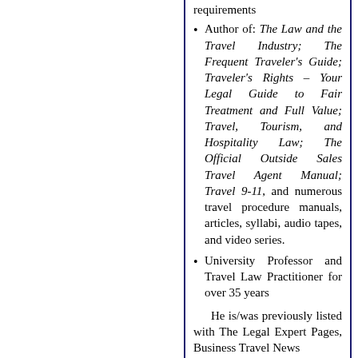Author of: The Law and the Travel Industry; The Frequent Traveler's Guide; Traveler's Rights – Your Legal Guide to Fair Treatment and Full Value; Travel, Tourism, and Hospitality Law; The Official Outside Sales Travel Agent Manual; Travel 9-11, and numerous travel procedure manuals, articles, syllabi, audio tapes, and video series.
University Professor and Travel Law Practitioner for over 35 years
He is/was previously listed with The Legal Expert Pages, Business Travel News